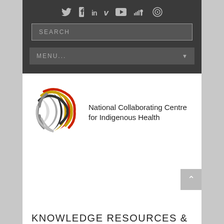[Figure (screenshot): Dark navigation bar with social media icons (Twitter, Facebook, LinkedIn, Vimeo, YouTube, SoundCloud, and a target/settings icon), a search input box, and a MENU dropdown bar.]
[Figure (logo): National Collaborating Centre for Indigenous Health logo — circular swoosh design in red, yellow, black and grey with text 'National Collaborating Centre for Indigenous Health']
KNOWLEDGE RESOURCES &